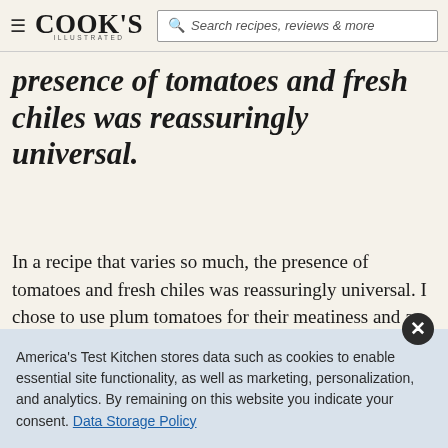COOK'S ILLUSTRATED — Search recipes, reviews & more
presence of tomatoes and fresh chiles was reassuringly universal.
In a recipe that varies so much, the presence of tomatoes and fresh chiles was reassuringly universal. I chose to use plum tomatoes for their meatiness and a single jalapeño to start, figuring I could always jack up the heat later. Now, how to cook them?
America's Test Kitchen stores data such as cookies to enable essential site functionality, as well as marketing, personalization, and analytics. By remaining on this website you indicate your consent. Data Storage Policy